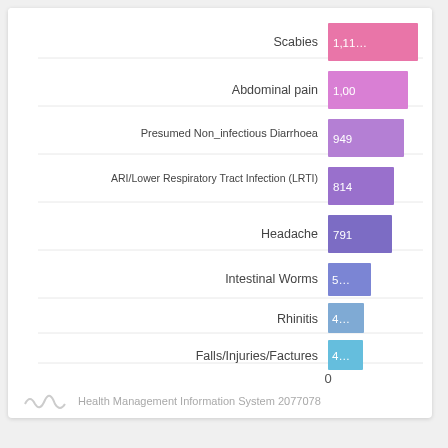[Figure (bar-chart): ]
Health Management Information System 2077078